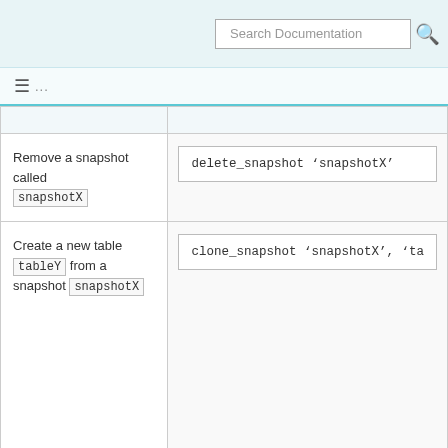Search Documentation
| Description | Command |
| --- | --- |
| Remove a snapshot called snapshotX | delete_snapshot 'snapshotX' |
| Create a new table tableY from a snapshot snapshotX | clone_snapshot 'snapshotX', 'ta… |